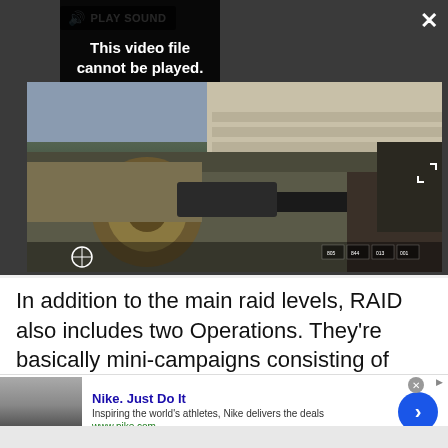[Figure (screenshot): Video player UI showing a black error overlay with text 'This video file cannot be played. (Error Code: 224003)', a 'PLAY SOUND' button at top, a close X button, a fullscreen button, and a partially visible game screenshot (first-person shooter, military setting) underneath.]
In addition to the main raid levels, RAID also includes two Operations. They're basically mini-campaigns consisting of multiple levels (even some set around
[Figure (screenshot): Nike advertisement banner showing Nike logo image on left, 'Nike. Just Do It' title in blue, 'Inspiring the world's athletes, Nike delivers the deals' description, 'www.nike.com' URL in green, and a blue circular CTA arrow button on right.]